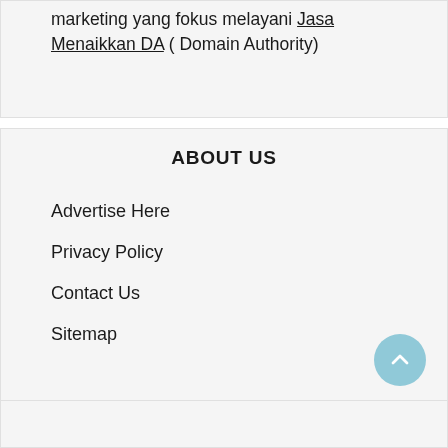marketing yang fokus melayani Jasa Menaikkan DA ( Domain Authority)
ABOUT US
Advertise Here
Privacy Policy
Contact Us
Sitemap